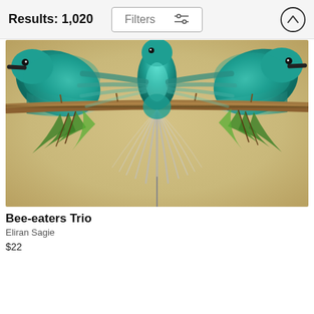Results: 1,020
[Figure (photo): Photograph of three bee-eater birds perched on a branch against a golden/beige background. The center bird faces downward with wings and tail fanned out symmetrically. The left and right birds face outward. Green leaves hang from the branch.]
Bee-eaters Trio
Eliran Sagie
$22